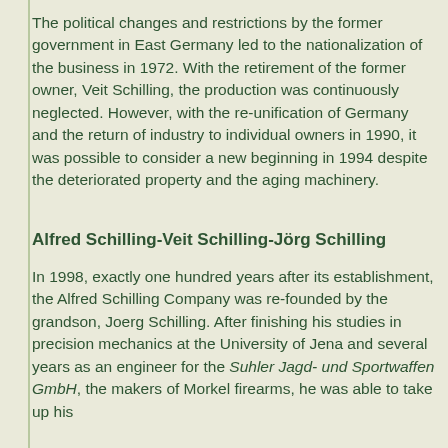The political changes and restrictions by the former government in East Germany led to the nationalization of the business in 1972. With the retirement of the former owner, Veit Schilling, the production was continuously neglected. However, with the re-unification of Germany and the return of industry to individual owners in 1990, it was possible to consider a new beginning in 1994 despite the deteriorated property and the aging machinery.
Alfred Schilling-Veit Schilling-Jörg Schilling
In 1998, exactly one hundred years after its establishment, the Alfred Schilling Company was re-founded by the grandson, Joerg Schilling. After finishing his studies in precision mechanics at the University of Jena and several years as an engineer for the Suhler Jagd- und Sportwaffen GmbH, the makers of Morkel firearms, he was able to take up his